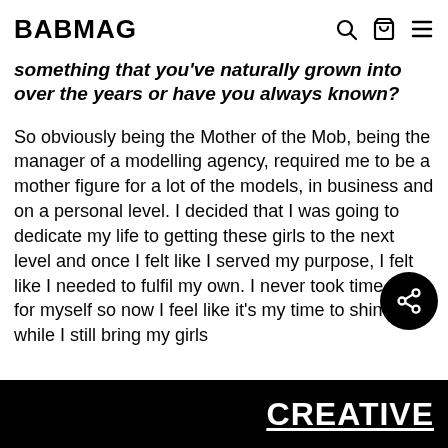BABMAG
something that you've naturally grown into over the years or have you always known?
So obviously being the Mother of the Mob, being the manager of a modelling agency, required me to be a mother figure for a lot of the models, in business and on a personal level. I decided that I was going to dedicate my life to getting these girls to the next level and once I felt like I served my purpose, I felt like I needed to fulfil my own. I never took time out for myself so now I feel like it's my time to shine, while I still bring my girls
CREATIVE